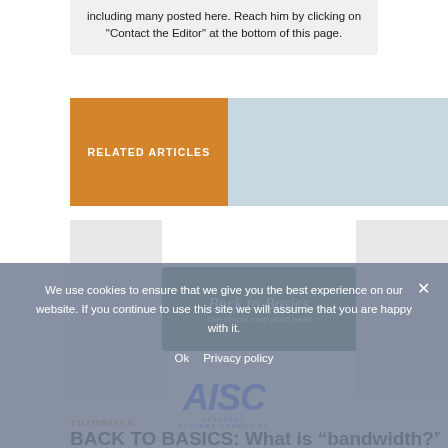including many posted here. Reach him by clicking on "Contact the Editor" at the bottom of this page.
RELATED ARTICLES
[Figure (illustration): Back to Basics – The simple stuff you'll need. Green banner logo with white italic text over three thumbnail placeholders (gray boxes on left and right).]
TUTORIALS
BACK TO BASICS: What is “bandwidth?”
We use cookies to ensure that we give you the best experience on our website. If you continue to use this site we will assume that you are happy with it.
Ok   Privacy policy